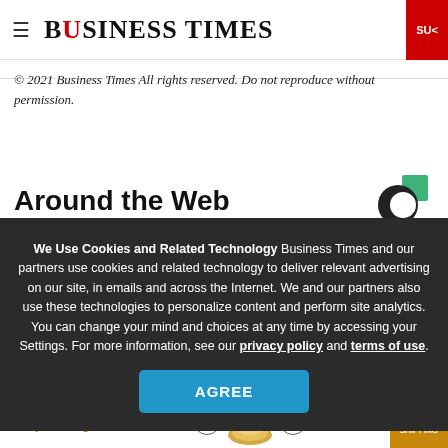BUSINESS TIMES
© 2021 Business Times All rights reserved. Do not reproduce without permission.
Around the Web
We Use Cookies and Related Technology Business Times and our partners use cookies and related technology to deliver relevant advertising on our site, in emails and across the Internet. We and our partners also use these technologies to personalize content and perform site analytics. You can change your mind and choices at any time by accessing your Settings. For more information, see our privacy policy and terms of use.
AGREE
The perfect gift | FREE SHIPPING